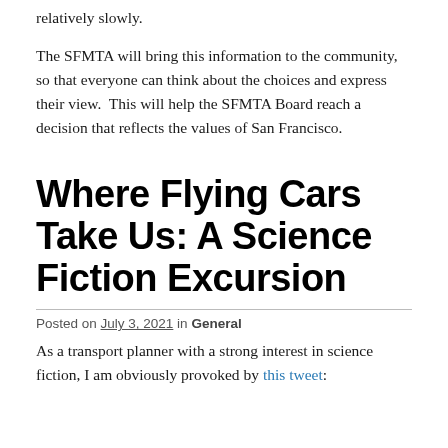relatively slowly.
The SFMTA will bring this information to the community, so that everyone can think about the choices and express their view.  This will help the SFMTA Board reach a decision that reflects the values of San Francisco.
Where Flying Cars Take Us: A Science Fiction Excursion
Posted on July 3, 2021 in General
As a transport planner with a strong interest in science fiction, I am obviously provoked by this tweet: